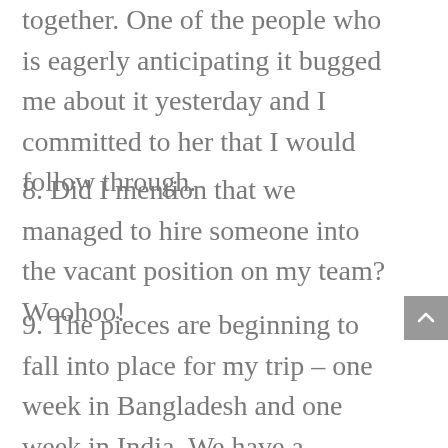together. One of the people who is eagerly anticipating it bugged me about it yesterday and I committed to her that I would follow through.
8. Did I mention that we managed to hire someone into the vacant position on my team? Woohoo!
9. The pieces are beginning to fall into place for my trip – one week in Bangladesh and one week in India. We have a weekend of spare time in